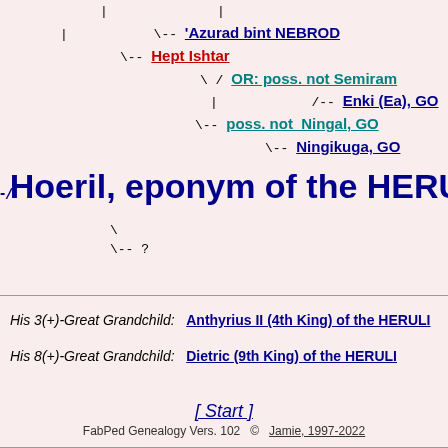[Figure (other): Genealogy tree diagram showing ancestry lines with names like 'Azurad bint NEBROD, Hept Ishtar, OR: poss. not Semiram..., Enki (Ea) GO..., poss. not Ningal GOD..., Ningikuga GO..., and Hoeril eponym of the HERULI with child line showing \-- ?]
His 3(+)-Great Grandchild: Anthyrius II (4th King) of the HERULI
His 8(+)-Great Grandchild: Dietric (9th King) of the HERULI
[ Start ]
FabPed Genealogy Vers. 102  ©  Jamie, 1997-2022